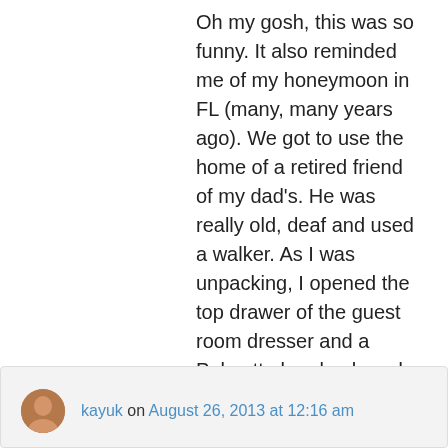Oh my gosh, this was so funny. It also reminded me of my honeymoon in FL (many, many years ago). We got to use the home of a retired friend of my dad's. He was really old, deaf and used a walker. As I was unpacking, I opened the top drawer of the guest room dresser and a Palmetto bug lumbered out of the drawer and fell to the floor. My screams brought my new hubby and old Elmo, who humped in behind his walker and proceeded to squash the gigantic insect with a tennis ball covered leg.
★ Like
↳ Reply
kayuk on August 26, 2013 at 12:16 am